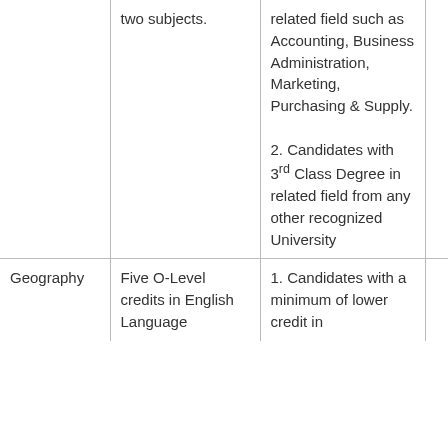| Subject | Minimum Entry Requirements | University Qualifications |  |
| --- | --- | --- | --- |
|  | two subjects. | related field such as Accounting, Business Administration, Marketing, Purchasing & Supply.

2. Candidates with 3rd Class Degree in related field from any other recognized University |  |
| Geography | Five O-Level credits in English Language | 1. Candidates with a minimum of lower credit in |  |